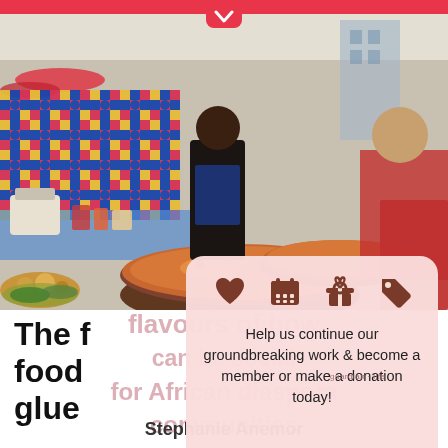[Figure (photo): Outdoor African food market scene with vendors cooking large pots of food, colorful fabric backdrops, market stalls with produce and goods, people browsing and eating]
The flavours of how food can be social glue for African diaspora communities
[Figure (infographic): Pink popup card with four brown icons (heart, calendar, gift box, price tag) and text: Help us continue our groundbreaking work & become a member or make a donation today!]
Stephanie Anemor